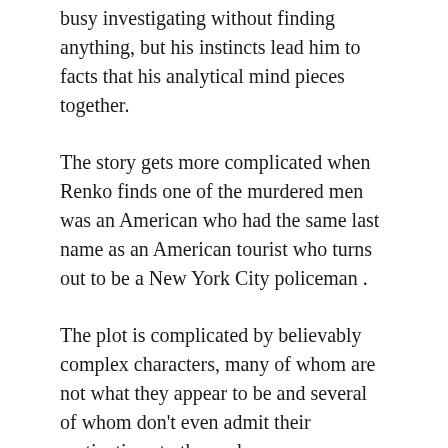busy investigating without finding anything, but his instincts lead him to facts that his analytical mind pieces together.
The story gets more complicated when Renko finds one of the murdered men was an American who had the same last name as an American tourist who turns out to be a New York City policeman .
The plot is complicated by believably complex characters, many of whom are not what they appear to be and several of whom don't even admit their motivations to themselves.
GORKY PARK BY MARTIN CRUZ SMITH RANDOM HOUSE. ©1981. 365 P. 1981 BESTSELLER #5. MY GRADE: A